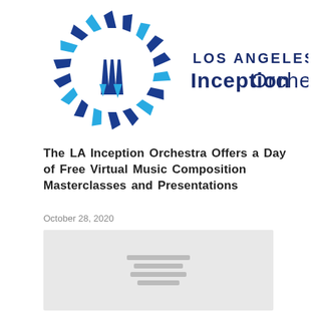[Figure (logo): Los Angeles Inception Orchestra logo: circular sunburst/fan design in dark blue and light blue with musical instrument shapes, next to text 'LOS ANGELES Inception Orchestra' in dark navy blue]
The LA Inception Orchestra Offers a Day of Free Virtual Music Composition Masterclasses and Presentations
October 28, 2020
[Figure (photo): Gray placeholder image area with three horizontal gray bars in the center (loading/placeholder state)]